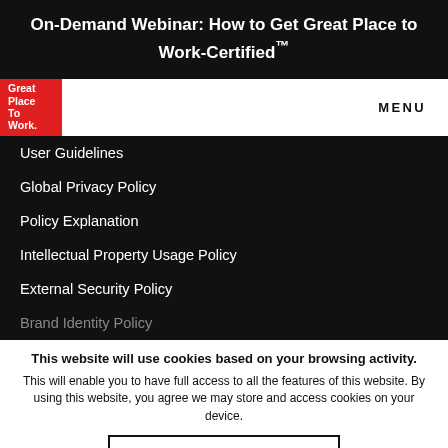On-Demand Webinar: How to Get Great Place to Work-Certified™
[Figure (logo): Great Place To Work red logo block with white text]
User Guidelines
Global Privacy Policy
Policy Explanation
Intellectual Property Usage Policy
External Security Policy
Brand Identity Policy
This website will use cookies based on your browsing activity.
This will enable you to have full access to all the features of this website. By using this website, you agree we may store and access cookies on your device.
I UNDERSTAND